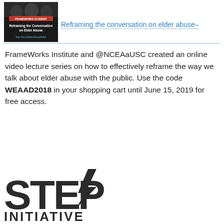[Figure (screenshot): Thumbnail image of Frameworks Academy video: 'Reframing the Conversation on Elder Abuse' with URL http://bit.ly/ElderAbuseFWA on dark background]
Reframing the conversation on elder abuse–
FrameWorks Institute and @NCEAaUSC created an online video lecture series on how to effectively reframe the way we talk about elder abuse with the public. Use the code WEAAD2018 in your shopping cart until June 15, 2019 for free access.
[Figure (logo): STEAP INITIATIVE logo in large bold dark text]